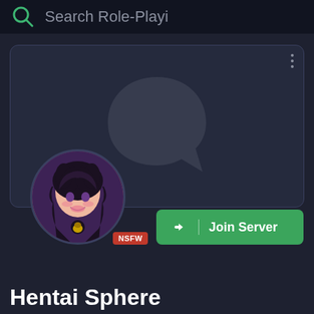Search Role-Playi
[Figure (screenshot): Discord server card with anime avatar (dark-haired anime girl), NSFW badge, and Join Server button on dark navy background]
Hentai Sphere
NSFW • Loads of hentai backlog and various channels!